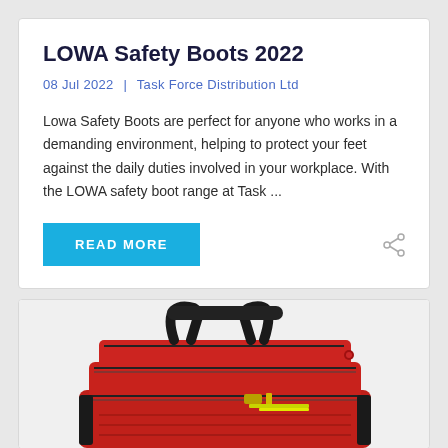LOWA Safety Boots 2022
08 Jul 2022  |  Task Force Distribution Ltd
Lowa Safety Boots are perfect for anyone who works in a demanding environment, helping to protect your feet against the daily duties involved in your workplace. With the LOWA safety boot range at Task ...
READ MORE
[Figure (photo): Red multi-compartment tactical/medical bag with black handles and zippers, viewed from the front at a slight angle]